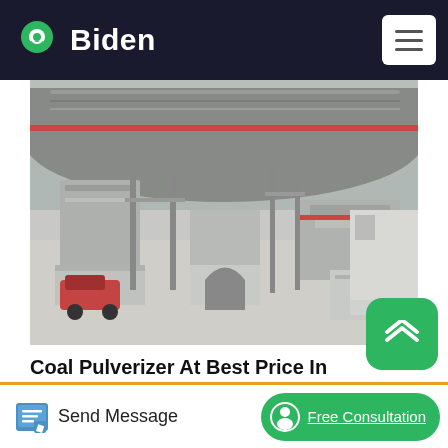Biden
[Figure (photo): Industrial coal pulverizer / rotary kiln equipment at a processing plant, showing large cylindrical drum machinery with support structures]
Coal Pulverizer At Best Price In India
Coal pulverizer is one advanced mill, adopting top technology domestic and abroad, and based on many years' mill experiences. it can crush, dry, grind, and classify ...
[Figure (other): Blue rectangular bar / card element partially visible]
Send Message   Free Consultation